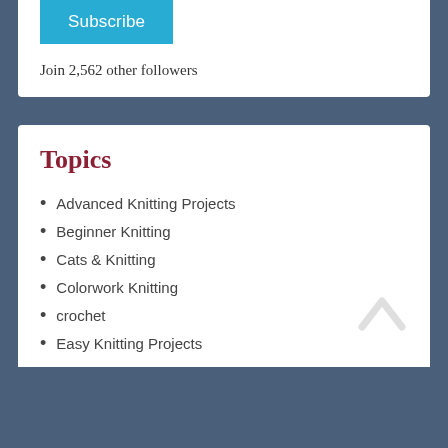[Figure (other): Subscribe button - teal/cyan colored rectangle with white text 'Subscribe']
Join 2,562 other followers
Topics
Advanced Knitting Projects
Beginner Knitting
Cats & Knitting
Colorwork Knitting
crochet
Easy Knitting Projects